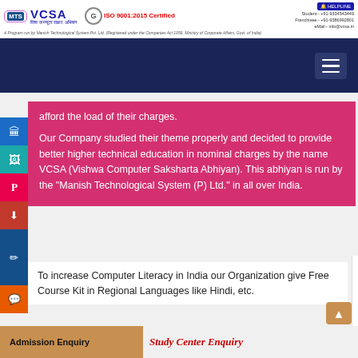MTS VCSA - Vishwa Computer Saksharta Abhiyan | ISO 9001:2015 Certified | A Program run by Manish Technological System Pvt. Ltd. | HELPLINE Student: +91-9334543449, Franchisee: +91-9386992801, eMail: info@vcsa.in
[Figure (screenshot): Navigation bar with dark blue background and hamburger menu icon on the right]
afford the load of their charges.
Our Company studied their theme properly and decided to provide better higher technical education in nominal charges by the name VCSA (Vishwa Computer Saksharta Abhiyan). This abhiyan is run by the "Manish Technological System (P) Ltd." in all over India.
To increase Computer Literacy in India our Organization give Free Course Kit in Regional Languages like Hindi, etc.
Admission Enquiry | Study Center Enquiry